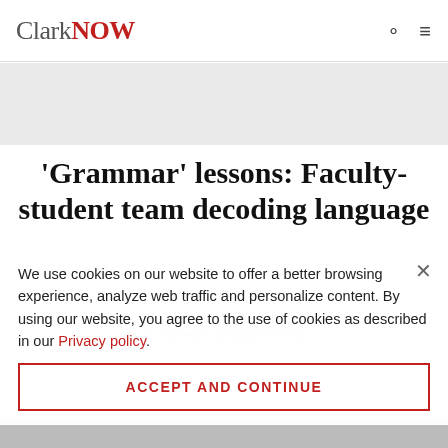ClarkNOW
'Grammar' lessons: Faculty-student team decoding language
We use cookies on our website to offer a better browsing experience, analyze web traffic and personalize content. By using our website, you agree to the use of cookies as described in our Privacy policy.
ACCEPT AND CONTINUE
November 10, 2016
By Meredith Woodward King